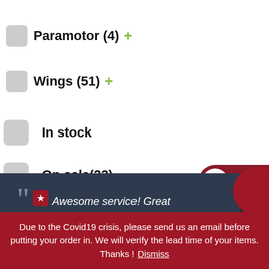Paramotor (4)
Wings (51)
In stock
On sale(22)
FILTER
USD USD
CAD CAD
Awesome service! Great communication and made sure I have everything I needed. So much faster than I anticipated. Had my wing in
Due to the Covid19 crisis, please send us an email before putting your order in. We will verify the lead time of your items. Thanks ! Dismiss